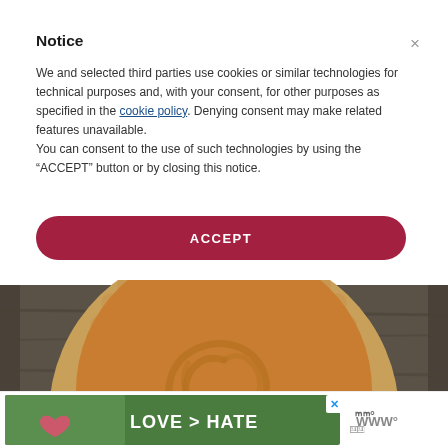Notice
We and selected third parties use cookies or similar technologies for technical purposes and, with your consent, for other purposes as specified in the cookie policy. Denying consent may make related features unavailable.
You can consent to the use of such technologies by using the “ACCEPT” button or by closing this notice.
ACCEPT
[Figure (photo): Aerial top-down view of a pumpkin pie in a fluted crust on a dark wooden surface, showing a swirl pattern on the orange filling.]
[Figure (photo): Advertisement banner showing two hands forming a heart shape, with text LOVE > HATE on a green background, with a close button and a logo on the right.]